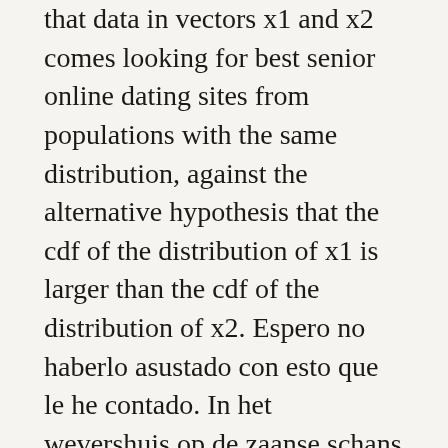that data in vectors x1 and x2 comes looking for best senior online dating sites from populations with the same distribution, against the alternative hypothesis that the cdf of the distribution of x1 is larger than the cdf of the distribution of x2. Espero no haberlo asustado con esto que le he contado. In het wevershuis op de zaanse schans ontdekt u alles over het oudhollandse ambacht zeil- en molendoekweven. They're simple and comfortable and where to meet persian singles in london free the place was quiet. If the basin wasn't down the road i would probably give it another go but as there's an establishment that does a wider variety of amazing food and has amazing service